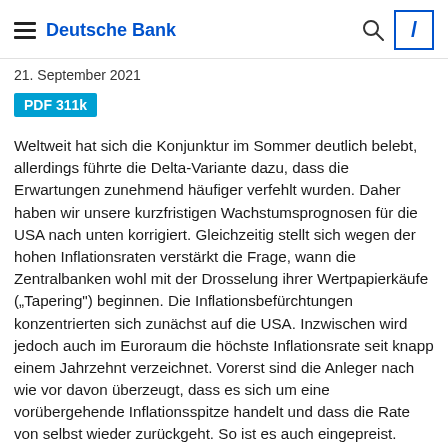Deutsche Bank
21. September 2021
PDF 311k
Weltweit hat sich die Konjunktur im Sommer deutlich belebt, allerdings führte die Delta-Variante dazu, dass die Erwartungen zunehmend häufiger verfehlt wurden. Daher haben wir unsere kurzfristigen Wachstumsprognosen für die USA nach unten korrigiert. Gleichzeitig stellt sich wegen der hohen Inflationsraten verstärkt die Frage, wann die Zentralbanken wohl mit der Drosselung ihrer Wertpapierkäufe ("Tapering") beginnen. Die Inflationsbefürchtungen konzentrierten sich zunächst auf die USA. Inzwischen wird jedoch auch im Euroraum die höchste Inflationsrate seit knapp einem Jahrzehnt verzeichnet. Vorerst sind die Anleger nach wie vor davon überzeugt, dass es sich um eine vorübergehende Inflationsspitze handelt und dass die Rate von selbst wieder zurückgeht. So ist es auch eingepreist. [mehr]